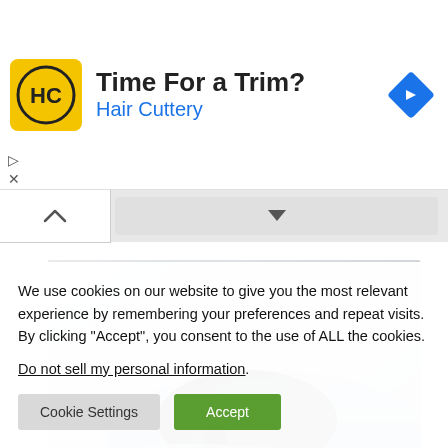[Figure (screenshot): Hair Cuttery advertisement banner with yellow logo showing HC letters, title 'Time For a Trim?' and blue subtitle 'Hair Cuttery', with blue diamond navigation icon on right]
[Figure (photo): Partial top-down view of a silver/blue sports car (appears to be a Porsche) on a light gray background]
We use cookies on our website to give you the most relevant experience by remembering your preferences and repeat visits. By clicking “Accept”, you consent to the use of ALL the cookies.
Do not sell my personal information.